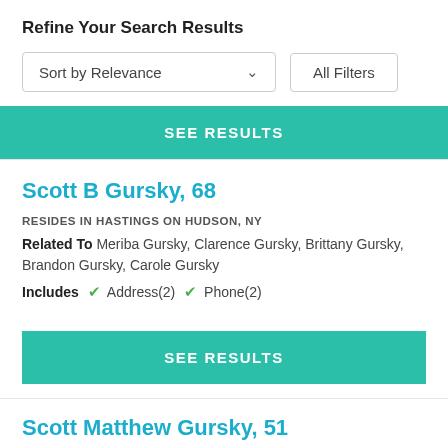Refine Your Search Results
[Figure (screenshot): Sort by Relevance dropdown and All Filters button]
SEE RESULTS
Scott B Gursky, 68
RESIDES IN HASTINGS ON HUDSON, NY
Related To Meriba Gursky, Clarence Gursky, Brittany Gursky, Brandon Gursky, Carole Gursky
Includes ✓ Address(2) ✓ Phone(2)
SEE RESULTS
Scott Matthew Gursky, 51
RESIDES IN LAKE, MI